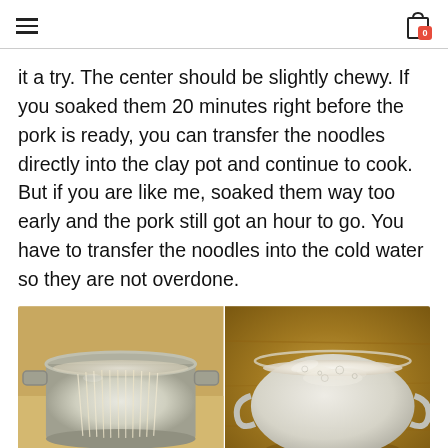navigation header with hamburger menu and cart icon with badge 0
it a try. The center should be slightly chewy. If you soaked them 20 minutes right before the pork is ready, you can transfer the noodles directly into the clay pot and continue to cook. But if you are like me, soaked them way too early and the pork still got an hour to go. You have to transfer the noodles into the cold water so they are not overdone.
[Figure (photo): Two side-by-side photos: left shows noodles soaking in a large stainless steel pot with water; right shows noodles in a glass bowl with cloudy/starchy water on a wooden cutting board]
The pork has been simmering for 2 hours now. Let's take a